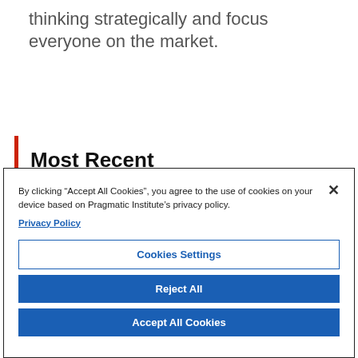thinking strategically and focus everyone on the market.
Most Recent
By clicking “Accept All Cookies”, you agree to the use of cookies on your device based on Pragmatic Institute’s privacy policy. Privacy Policy
Cookies Settings
Reject All
Accept All Cookies